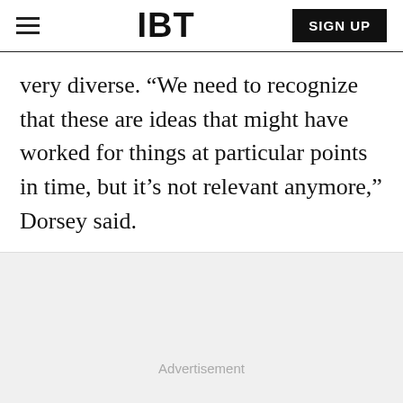IBT
very diverse. “We need to recognize that these are ideas that might have worked for things at particular points in time, but it’s not relevant anymore,” Dorsey said.
Advertisement